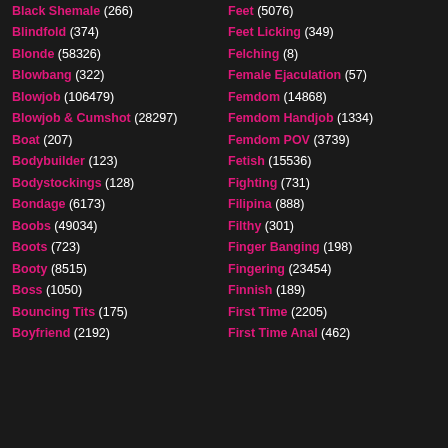Black Shemale (266)
Blindfold (374)
Blonde (58326)
Blowbang (322)
Blowjob (106479)
Blowjob & Cumshot (28297)
Boat (207)
Bodybuilder (123)
Bodystockings (128)
Bondage (6173)
Boobs (49034)
Boots (723)
Booty (8515)
Boss (1050)
Bouncing Tits (175)
Boyfriend (2192)
Feet (5076)
Feet Licking (349)
Felching (8)
Female Ejaculation (57)
Femdom (14868)
Femdom Handjob (1334)
Femdom POV (3739)
Fetish (15536)
Fighting (731)
Filipina (888)
Filthy (301)
Finger Banging (198)
Fingering (23454)
Finnish (189)
First Time (2205)
First Time Anal (462)